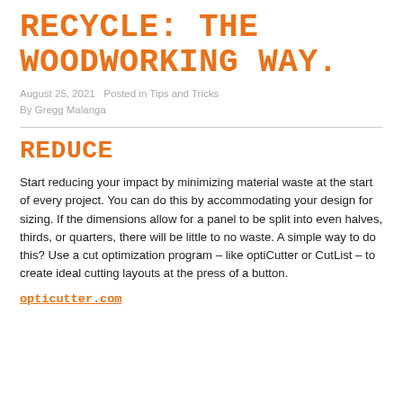Recycle: The Woodworking Way.
August 25, 2021   Posted in Tips and Tricks
By Gregg Malanga
REDUCE
Start reducing your impact by minimizing material waste at the start of every project. You can do this by accommodating your design for sizing. If the dimensions allow for a panel to be split into even halves, thirds, or quarters, there will be little to no waste. A simple way to do this? Use a cut optimization program – like optiCutter or CutList – to create ideal cutting layouts at the press of a button.
opticutter.com